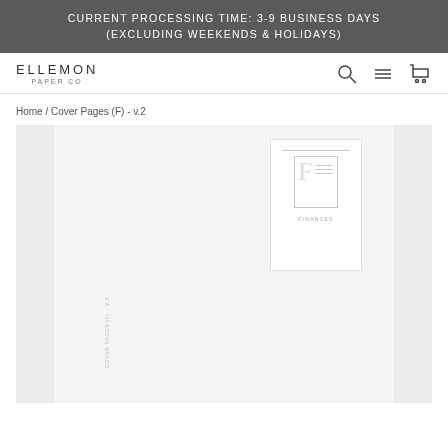CURRENT PROCESSING TIME: 3-9 BUSINESS DAYS (EXCLUDING WEEKENDS & HOLIDAYS)
[Figure (screenshot): Ellemon Paper Co. logo with navigation icons (search, hamburger menu, cart)]
Home / Cover Pages (F) - v.2
[Figure (photo): Product image showing Cover Pages (F) v.2 from Ellemon Paper Co. — a finance cover page preview with F letterform inside a bordered box, decorative lines, and FINANCES label, shown on light grey background with side strips]